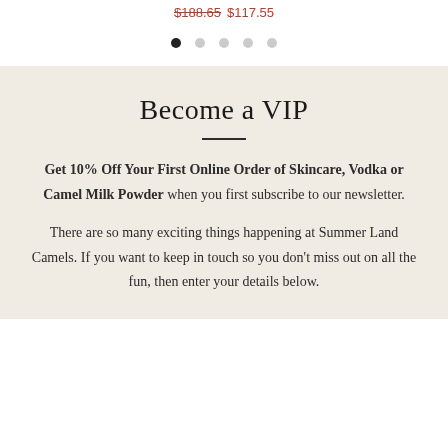$188.65  $117.55
[Figure (other): Carousel pagination dots: one filled black dot followed by four grey dots]
Become a VIP
Get 10% Off Your First Online Order of Skincare, Vodka or Camel Milk Powder when you first subscribe to our newsletter.

There are so many exciting things happening at Summer Land Camels. If you want to keep in touch so you don't miss out on all the fun, then enter your details below.